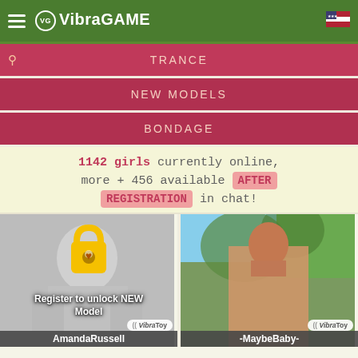VibraGAME
TRANCE
NEW MODELS
BONDAGE
1142 girls currently online, more + 456 available AFTER REGISTRATION in chat!
[Figure (photo): Blurred grayscale photo of a model with a yellow padlock icon overlay and text 'Register to unlock NEW Model'. Name label: AmandaRussell. VibraToy badge visible.]
[Figure (photo): Color photo of a model outdoors. Name label: -MaybeBaby-. VibraToy badge visible.]